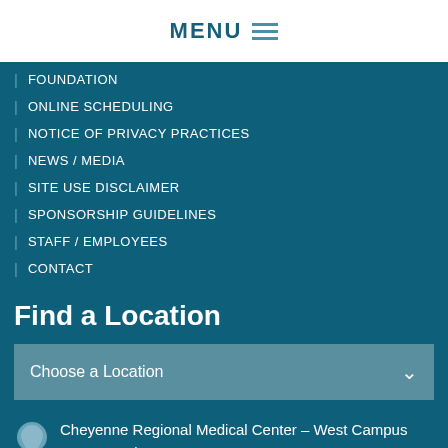MENU
| FOUNDATION
| ONLINE SCHEDULING
| NOTICE OF PRIVACY PRACTICES
| NEWS / MEDIA
| SITE USE DISCLAIMER
| SPONSORSHIP GUIDELINES
| STAFF / EMPLOYEES
| CONTACT
Find a Location
Choose a Location
Cheyenne Regional Medical Center – West Campus
214 E. 23rd St.
Cheyenne, WY 82001